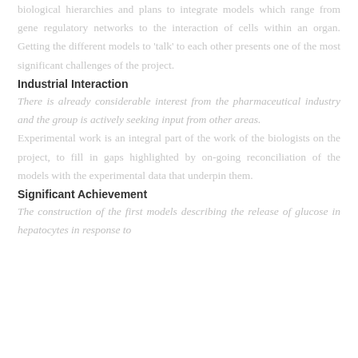biological hierarchies and plans to integrate models which range from gene regulatory networks to the interaction of cells within an organ. Getting the different models to 'talk' to each other presents one of the most significant challenges of the project.
Industrial Interaction
There is already considerable interest from the pharmaceutical industry and the group is actively seeking input from other areas.
Experimental work is an integral part of the work of the biologists on the project, to fill in gaps highlighted by on-going reconciliation of the models with the experimental data that underpin them.
Significant Achievement
The construction of the first models describing the release of glucose in hepatocytes in response to